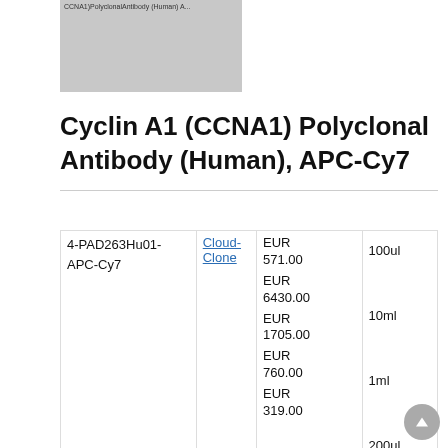[Figure (photo): Thumbnail image of Cyclin A1 (CCNA1) Polyclonal Antibody (Human) product, gray placeholder]
Cyclin A1 (CCNA1) Polyclonal Antibody (Human), APC-Cy7
| Catalog Number | Supplier | Price | Size |
| --- | --- | --- | --- |
| 4-PAD263Hu01-APC-Cy7 | Cloud-Clone | EUR 571.00
EUR 6430.00
EUR 1705.00
EUR 760.00
EUR 319.00 | 100ul
10ml
1ml
200ul
20ul |